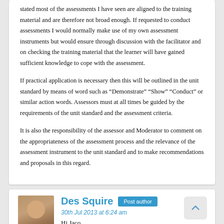stated most of the assessments I have seen are aligned to the training material and are therefore not broad enough. If requested to conduct assessments I would normally make use of my own assessment instruments but would ensure through discussion with the facilitator and on checking the training material that the learner will have gained sufficient knowledge to cope with the assessment.
If practical application is necessary then this will be outlined in the unit standard by means of word such as “Demonstrate” “Show” “Conduct” or similar action words. Assessors must at all times be guided by the requirements of the unit standard and the assessment criteria.
It is also the responsibility of the assessor and Moderator to comment on the appropriateness of the assessment process and the relevance of the assessment instrument to the unit standard and to make recommendations and proposals in this regard.
[Figure (photo): Profile photo of Des Squire, a man in a plaid shirt]
Des Squire Post author 30th Jul 2013 at 6:24 am Hi Jaco